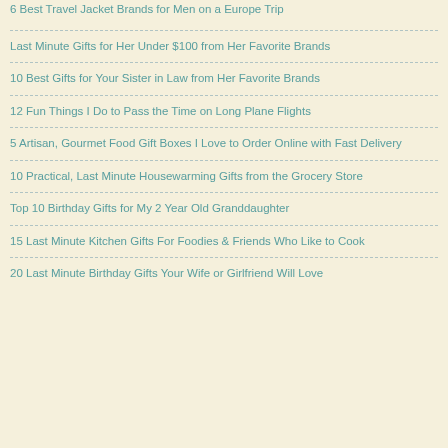6 Best Travel Jacket Brands for Men on a Europe Trip
Last Minute Gifts for Her Under $100 from Her Favorite Brands
10 Best Gifts for Your Sister in Law from Her Favorite Brands
12 Fun Things I Do to Pass the Time on Long Plane Flights
5 Artisan, Gourmet Food Gift Boxes I Love to Order Online with Fast Delivery
10 Practical, Last Minute Housewarming Gifts from the Grocery Store
Top 10 Birthday Gifts for My 2 Year Old Granddaughter
15 Last Minute Kitchen Gifts For Foodies & Friends Who Like to Cook
20 Last Minute Birthday Gifts Your Wife or Girlfriend Will Love